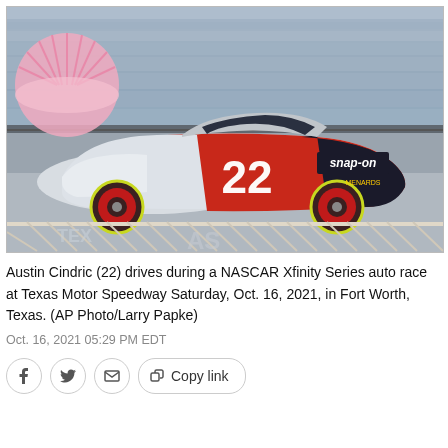[Figure (photo): Austin Cindric's #22 Snap-on NASCAR Xfinity Series race car on the track at Texas Motor Speedway, with grandstands full of spectators in the background. The car is white, red, and black with the number 22 prominently displayed.]
Austin Cindric (22) drives during a NASCAR Xfinity Series auto race at Texas Motor Speedway Saturday, Oct. 16, 2021, in Fort Worth, Texas. (AP Photo/Larry Papke)
Oct. 16, 2021 05:29 PM EDT